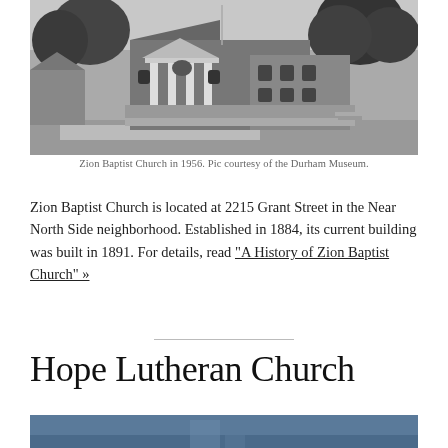[Figure (photo): Black and white photograph of Zion Baptist Church building in 1956, a large brick building with white columns at the entrance and trees surrounding it.]
Zion Baptist Church in 1956. Pic courtesy of the Durham Museum.
Zion Baptist Church is located at 2215 Grant Street in the Near North Side neighborhood. Established in 1884, its current building was built in 1891. For details, read “A History of Zion Baptist Church” »
Hope Lutheran Church
[Figure (photo): Partial color photograph of Hope Lutheran Church, showing a blue-toned building facade.]